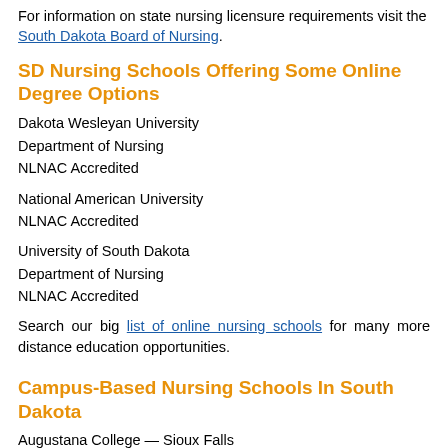For information on state nursing licensure requirements visit the South Dakota Board of Nursing.
SD Nursing Schools Offering Some Online Degree Options
Dakota Wesleyan University
Department of Nursing
NLNAC Accredited
National American University
NLNAC Accredited
University of South Dakota
Department of Nursing
NLNAC Accredited
Search our big list of online nursing schools for many more distance education opportunities.
Campus-Based Nursing Schools In South Dakota
Augustana College — Sioux Falls
CCNE Accredited
Dakota Wesleyan University — Mitchell
Department of Nursing